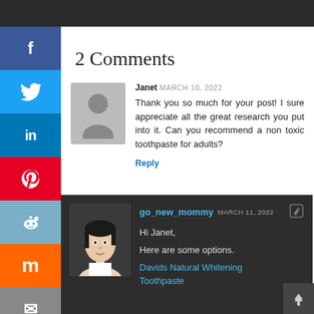2 Comments
Janet MARCH 10, 2022
Thank you so much for your post! I sure appreciate all the great research you put into it. Can you recommend a non toxic toothpaste for adults?
Reply
go_new_mommy MARCH 11, 2022
Hi Janet,
Here are some options.
Davids Natural Whitening Toothpaste